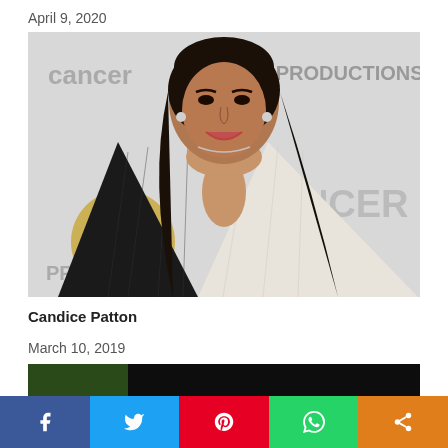April 9, 2020
[Figure (photo): Candice Patton at an event, wearing a half-black half-white pinstripe blazer, standing in front of a backdrop with WB and cancer-related event branding]
Candice Patton
March 10, 2019
[Figure (photo): Bottom portion of a second photo, partially visible, dark/dark green tones]
Social share bar: Facebook, Twitter, Pinterest, WhatsApp, Share